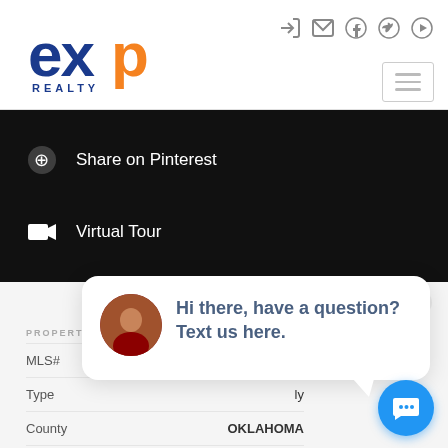[Figure (logo): eXp Realty logo with blue 'ex' and orange 'p' letters, 'REALTY' text below]
Share on Pinterest
Virtual Tour
close
PROPERTY ATTRIBUTES
MLS#
Type
County OKLAHOMA
City Oklahoma City
Neighborhood Bell Vern
Hi there, have a question? Text us here.